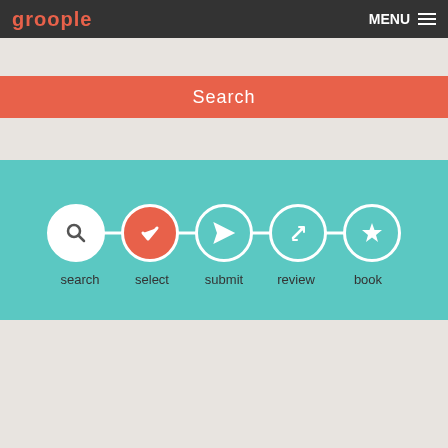groople | MENU
Search
[Figure (infographic): Five-step process indicator with circles connected by a line: search (magnifying glass), select (checkmark, active/orange), submit (paper plane), review (pencil), book (star)]
search   select   submit   review   book
Select your preferred hotels and we'll negotiate the best deal for your group.
Choose up to 5 hotels to receive your custom group quote within 24 hours.
Based on your request criteria we are displaying ... hotels out of a possible to show you.
Sort